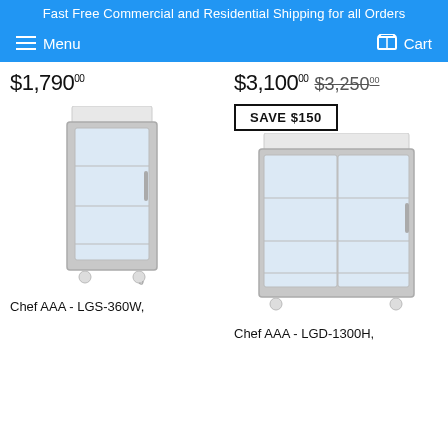Fast Free Commercial and Residential Shipping for all Orders
Menu   Cart
$1,790.00
$3,100.00  $3,250.00
SAVE $150
[Figure (photo): Single glass door commercial refrigerator, Chef AAA LGS-360W]
[Figure (photo): Double glass door commercial refrigerator, Chef AAA LGD-1300H]
Chef AAA - LGS-360W,
Chef AAA - LGD-1300H,